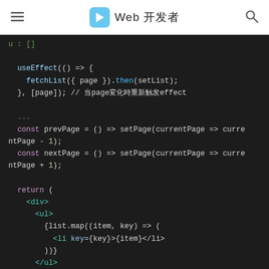Web 开发者
[Figure (screenshot): A dark-themed code editor screenshot showing React JavaScript code with syntax highlighting. The code includes useEffect with fetchList, prevPage and nextPage arrow functions using setPage, and JSX return with div, ul, li (list.map), and button elements.]